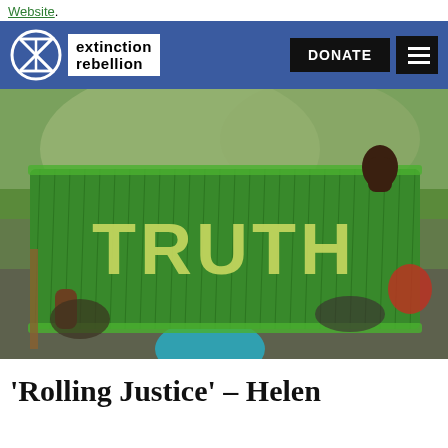Website.
[Figure (logo): Extinction Rebellion logo with circle/hourglass symbol and text 'extinction rebellion', plus DONATE button and hamburger menu, on blue navigation bar]
[Figure (photo): Protest photo showing a person holding up a large green grass/turf banner spelling out 'TRUTH' in yellow-green letters, surrounded by a crowd outdoors with trees in background]
‘Rolling Justice’ – Helen